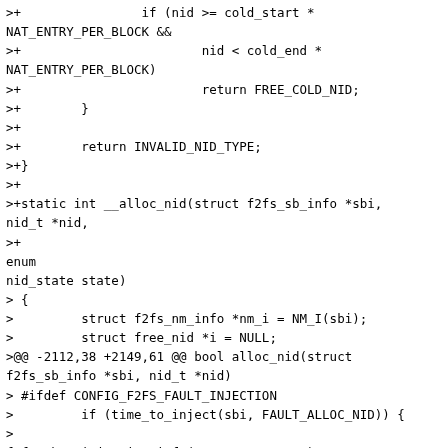>+                if (nid >= cold_start *
NAT_ENTRY_PER_BLOCK &&
>+                        nid < cold_end *
NAT_ENTRY_PER_BLOCK)
>+                        return FREE_COLD_NID;
>+        }
>+
>+        return INVALID_NID_TYPE;
>+}
>+
>+static int __alloc_nid(struct f2fs_sb_info *sbi, nid_t *nid,
>+                                                        enum
nid_state state)
> {
>         struct f2fs_nm_info *nm_i = NM_I(sbi);
>         struct free_nid *i = NULL;
>@@ -2112,38 +2149,61 @@ bool alloc_nid(struct
f2fs_sb_info *sbi, nid_t *nid)
> #ifdef CONFIG_F2FS_FAULT_INJECTION
>         if (time_to_inject(sbi, FAULT_ALLOC_NID)) {
>
f2fs_show_injection_info(FAULT_ALLOC_NID);
>-                return false;
>+                return 0;
>         }
> #endif
>         spin_lock(&nm_i->nid_list_lock);
>
>         if (unlikely(nm_i->available_nids == 0)) {